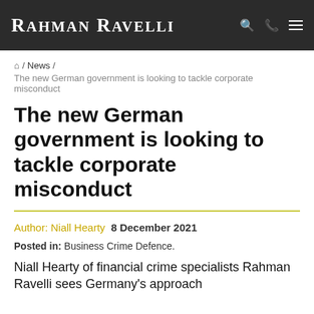Rahman Ravelli
Home / News /
The new German government is looking to tackle corporate misconduct
The new German government is looking to tackle corporate misconduct
Author: Niall Hearty  8 December 2021
Posted in: Business Crime Defence.
Niall Hearty of financial crime specialists Rahman Ravelli sees Germany's approach